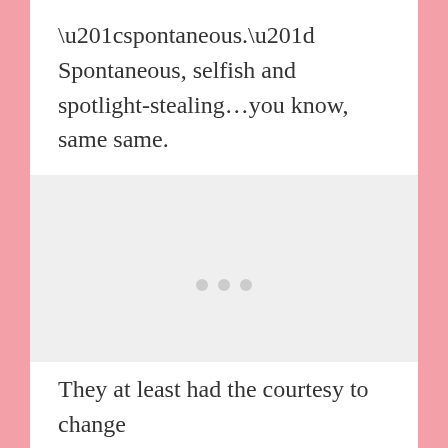“spontaneous.” Spontaneous, selfish and spotlight-stealing…you know, same same.
[Figure (other): A large light gray placeholder image box with three small gray loading dots centered in the middle, indicating an image that has not loaded.]
They at least had the courtesy to change